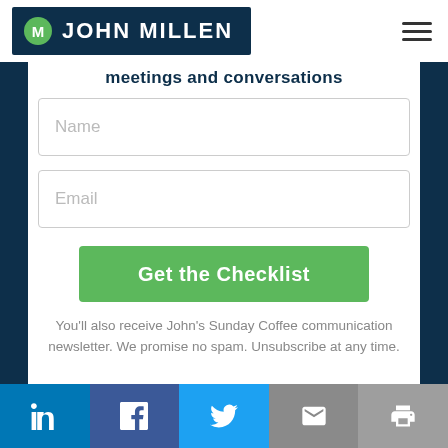JOHN MILLEN
meetings and conversations
Name
Email
Get the Checklist
You'll also receive John's Sunday Coffee communication newsletter. We promise no spam. Unsubscribe at any time.
Social share bar: LinkedIn, Facebook, Twitter, Email, Print